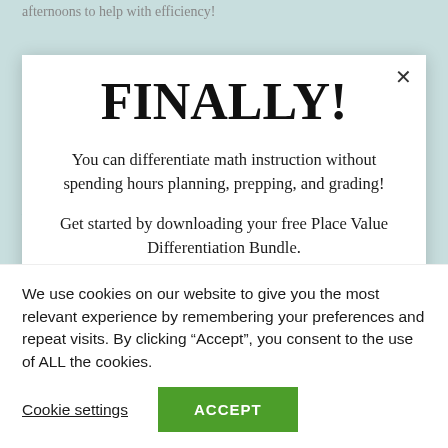afternoons to help with efficiency!
FINALLY!
You can differentiate math instruction without spending hours planning, prepping, and grading!
Get started by downloading your free Place Value Differentiation Bundle.
We use cookies on our website to give you the most relevant experience by remembering your preferences and repeat visits. By clicking “Accept”, you consent to the use of ALL the cookies.
Cookie settings
ACCEPT